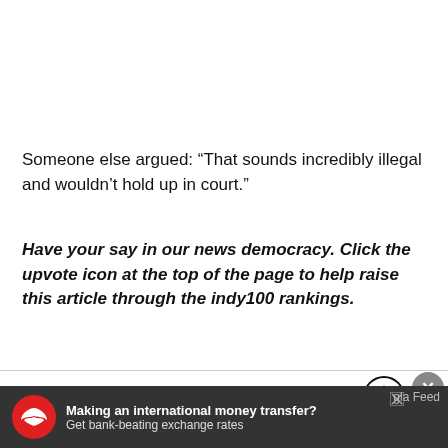Someone else argued: “That sounds incredibly illegal and wouldn’t hold up in court.”
Have your say in our news democracy. Click the upvote icon at the top of the page to help raise this article through the indy100 rankings.
What did you think?
Reddit
Boss
Viral
[Figure (infographic): Advertisement banner: red eagle logo, text 'Making an international money transfer? Get bank-beating exchange rates', with close button and 'gla Feed' label]